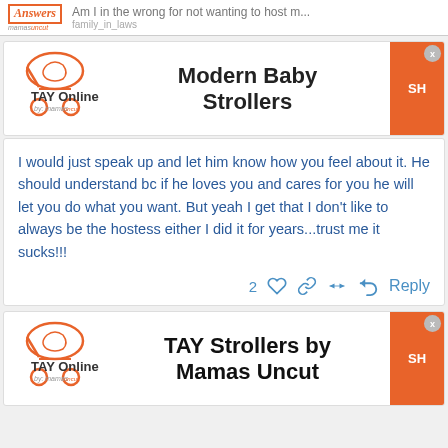Am I in the wrong for not wanting to host m... | family_in_laws
[Figure (logo): TAY Online by mamas ad banner for Modern Baby Strollers with orange shop button]
I would just speak up and let him know how you feel about it. He should understand bc if he loves you and cares for you he will let you do what you want. But yeah I get that I don't like to always be the hostess either I did it for years...trust me it sucks!!!
[Figure (logo): TAY Online by mamas ad banner for TAY Strollers by Mamas Uncut with orange shop button]